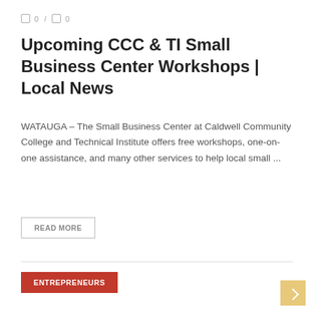0 / 0
Upcoming CCC & TI Small Business Center Workshops | Local News
WATAUGA – The Small Business Center at Caldwell Community College and Technical Institute offers free workshops, one-on-one assistance, and many other services to help local small ...
READ MORE
ENTREPRENEURS